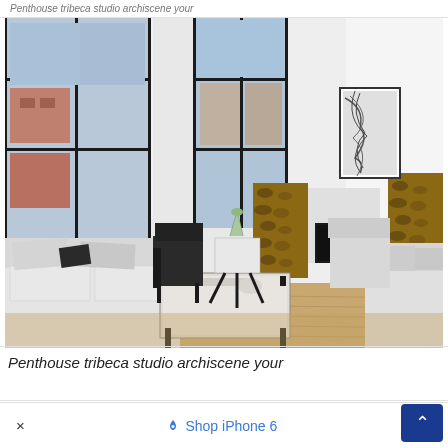Penthouse tribeca studio archiscene your
[Figure (photo): Interior of a modern penthouse living room with high ceilings, large black-framed windows with city views, white walls, contemporary white sofas, a square coffee table with black metal legs, two black accent chairs, a fireplace with stacked firewood on both sides, and a framed black and white artwork above the fireplace.]
Penthouse tribeca studio archiscene your
× Shop iPhone 6 ^